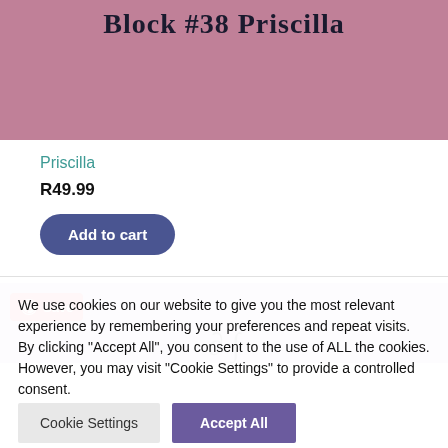[Figure (photo): Product image with mauve/pink background showing text 'Block #38 Priscilla' in dark serif font]
Priscilla
R49.99
Add to cart
[Figure (photo): Second product preview image with lavender/purple background, with a Pinterest Save button overlay]
We use cookies on our website to give you the most relevant experience by remembering your preferences and repeat visits. By clicking "Accept All", you consent to the use of ALL the cookies. However, you may visit "Cookie Settings" to provide a controlled consent.
Cookie Settings
Accept All